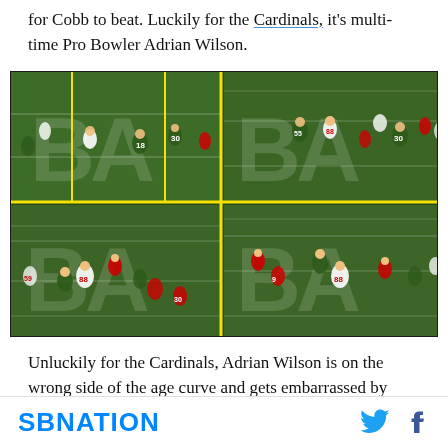for Cobb to beat. Luckily for the Cardinals, it's multi-time Pro Bowler Adrian Wilson.
[Figure (photo): Four-panel composite of football game footage showing players from the Arizona Cardinals (white/red jerseys) and Green Bay Packers (green/yellow jerseys) on a green field with yard lines and end zone lettering visible.]
Unluckily for the Cardinals, Adrian Wilson is on the wrong side of the age curve and gets embarrassed by
SBNATION